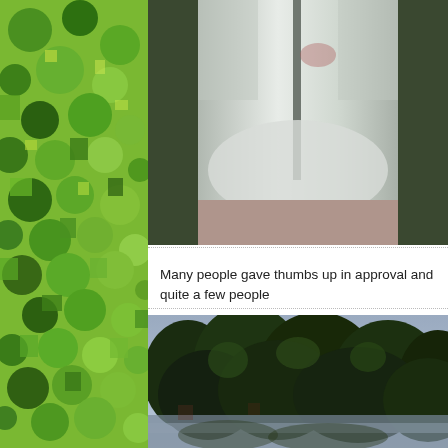[Figure (photo): Aerial satellite view of circular green agricultural fields forming a patchwork pattern, seen from above. Used as decorative left sidebar background.]
[Figure (photo): Photo of a person wearing a white protective coverall suit or hazmat-style garment, seated outdoors on a brick surface, arms folded.]
Many people gave thumbs up in approval and quite a few people
[Figure (photo): Photo of trees with dark green foliage viewed from below or at an angle, possibly in a rainy or overcast setting with some reflective ground surface visible.]